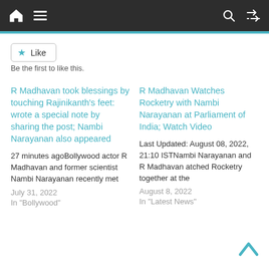Navigation bar with home, menu, search, and shuffle icons
Like
Be the first to like this.
R Madhavan took blessings by touching Rajinikanth's feet: wrote a special note by sharing the post; Nambi Narayanan also appeared
27 minutes agoBollywood actor R Madhavan and former scientist Nambi Narayanan recently met
July 31, 2022
In "Bollywood"
R Madhavan Watches Rocketry with Nambi Narayanan at Parliament of India; Watch Video
Last Updated: August 08, 2022, 21:10 ISTNambi Narayanan and R Madhavan atched Rocketry together at the
August 8, 2022
In "Latest News"